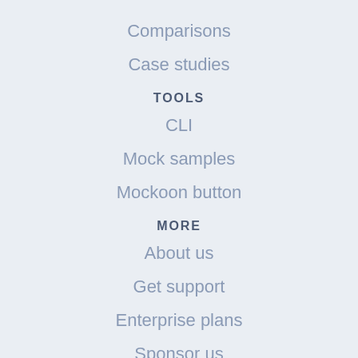Comparisons
Case studies
TOOLS
CLI
Mock samples
Mockoon button
MORE
About us
Get support
Enterprise plans
Sponsor us
[Figure (illustration): Three social media icons: GitHub, Discord, and Twitter]